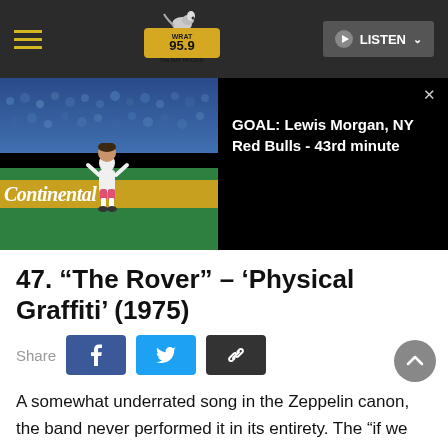WRAT 95.9 The RAT ROCKS! — Navigation bar with LISTEN button
[Figure (screenshot): Soccer match video thumbnail showing player on field with Continental banner, partially overlaid by a dark popup showing 'GOAL: Lewis Morgan, NY Red Bulls - 43rd minute']
47. “The Rover” – ‘Physical Graffiti’ (1975)
Share
A somewhat underrated song in the Zeppelin canon, the band never performed it in its entirety. The “if we could just join hands” chorus may have seemed trite, especially as punk rock’s influence was making everything